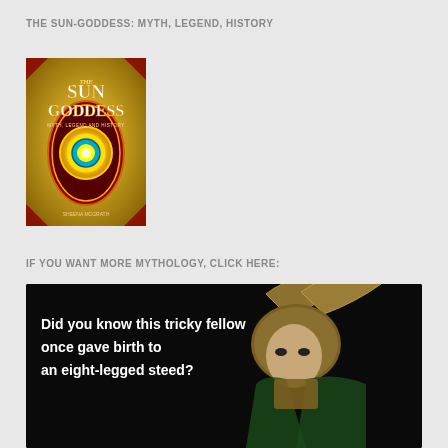THE SUN-GODDESS: MYTH, LEGEND, HISTORY
[Figure (illustration): Book cover of 'The Sun Goddess: Myth, Legend and History' featuring a golden/orange background with an ornate circular sun medallion design in red and gold]
IF YOU WANT MORE MYTHOLOGY, CLICK HERE:
[Figure (photo): Dark black background image featuring Loki character from Marvel films in gold horned helmet with white text reading 'Did you know this tricky fellow once gave birth to an eight-legged steed?']